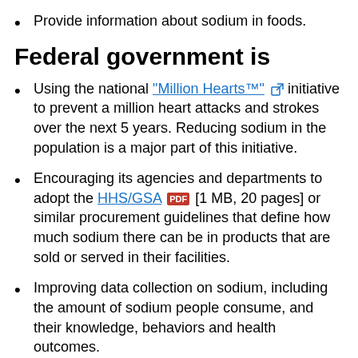Provide information about sodium in foods.
Federal government is
Using the national "Million Hearts™" initiative to prevent a million heart attacks and strokes over the next 5 years. Reducing sodium in the population is a major part of this initiative.
Encouraging its agencies and departments to adopt the HHS/GSA [1 MB, 20 pages] or similar procurement guidelines that define how much sodium there can be in products that are sold or served in their facilities.
Improving data collection on sodium, including the amount of sodium people consume, and their knowledge, behaviors and health outcomes.